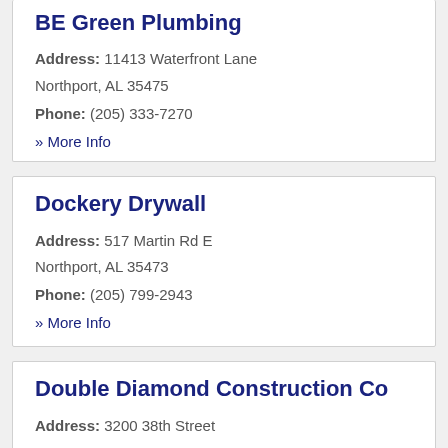BE Green Plumbing
Address: 11413 Waterfront Lane Northport, AL 35475
Phone: (205) 333-7270
» More Info
Dockery Drywall
Address: 517 Martin Rd E Northport, AL 35473
Phone: (205) 799-2943
» More Info
Double Diamond Construction Co
Address: 3200 38th Street